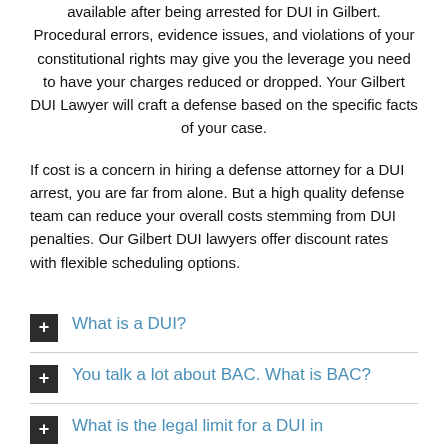available after being arrested for DUI in Gilbert. Procedural errors, evidence issues, and violations of your constitutional rights may give you the leverage you need to have your charges reduced or dropped. Your Gilbert DUI Lawyer will craft a defense based on the specific facts of your case.
If cost is a concern in hiring a defense attorney for a DUI arrest, you are far from alone. But a high quality defense team can reduce your overall costs stemming from DUI penalties. Our Gilbert DUI lawyers offer discount rates with flexible scheduling options.
What is a DUI?
You talk a lot about BAC. What is BAC?
What is the legal limit for a DUI in